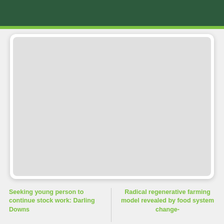[Figure (photo): Large image placeholder card with rounded corners and shadow, light gray background indicating a photo that failed to load or is a placeholder.]
Seeking young person to continue stock work: Darling Downs
Radical regenerative farming model revealed by food system change-